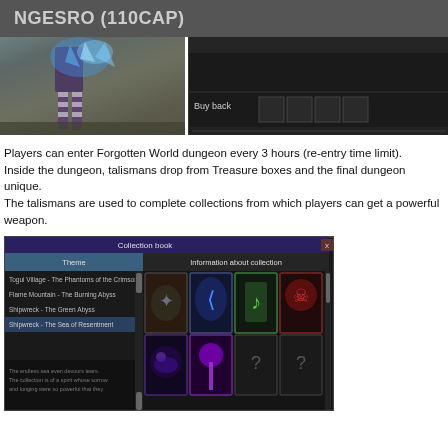NGESRO (110CAP)
[Figure (screenshot): Game screenshot showing character legs with blue crystal effects on left, and a dark game UI panel with 'Buy back' label and item slots on right]
Players can enter Forgotten World dungeon every 3 hours (re-entry time limit).
Inside the dungeon, talismans drop from Treasure boxes and the final dungeon unique.
The talismans are used to complete collections from which players can get a powerful weapon.
[Figure (screenshot): Game UI screenshot showing a Collection book window with Theme list (Togui Village - The Phantoms of the Crimsondo, Flame Mountain - The Burning Abyss, Shipwreck - The Green Abyss, Shipwreck - The Sea of Resentment) on the left and item card grid on the right with various colored item cards]